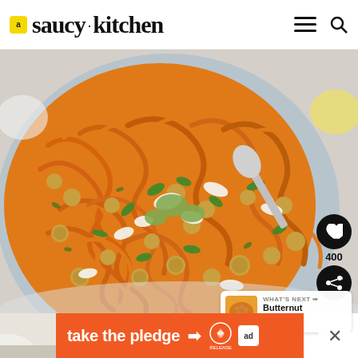saucy kitchen
[Figure (photo): Blue bowl filled with spiralized butternut squash noodles topped with chickpeas, crumbled feta cheese, green herbs, and avocado green dressing, with a spoon in the bowl]
400
WHAT'S NEXT → Butternut Squash...
[Figure (photo): Small thumbnail of butternut squash dish]
take the pledge →